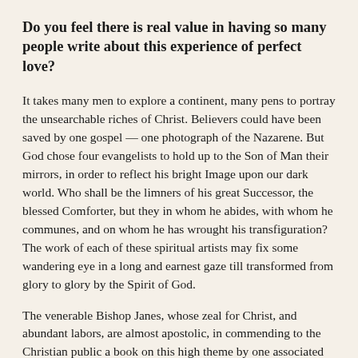Do you feel there is real value in having so many people write about this experience of perfect love?
It takes many men to explore a continent, many pens to portray the unsearchable riches of Christ. Believers could have been saved by one gospel — one photograph of the Nazarene. But God chose four evangelists to hold up to the Son of Man their mirrors, in order to reflect his bright Image upon our dark world. Who shall be the limners of his great Successor, the blessed Comforter, but they in whom he abides, with whom he communes, and on whom he has wrought his transfiguration? The work of each of these spiritual artists may fix some wandering eye in a long and earnest gaze till transformed from glory to glory by the Spirit of God.
The venerable Bishop Janes, whose zeal for Christ, and abundant labors, are almost apostolic, in commending to the Christian public a book on this high theme by one associated with him in the episcopal office, used the following eloquent language:
Every man has his circle of influence. Each author on this subject will secure some readers that would not give attention to the writings of others. Here is a